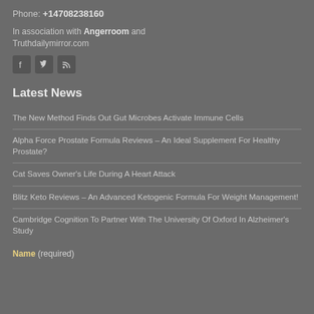Phone: +14708238160
In association with Angerroom and Truthdailymirror.com
[Figure (other): Three social media icons: Facebook, Twitter, RSS feed]
Latest News
The New Method Finds Out Gut Microbes Activate Immune Cells
Alpha Force Prostate Formula Reviews – An Ideal Supplement For Healthy Prostate?
Cat Saves Owner's Life During A Heart Attack
Blitz Keto Reviews – An Advanced Ketogenic Formula For Weight Management!
Cambridge Cognition To Partner With The University Of Oxford In Alzheimer's Study
Name (required)